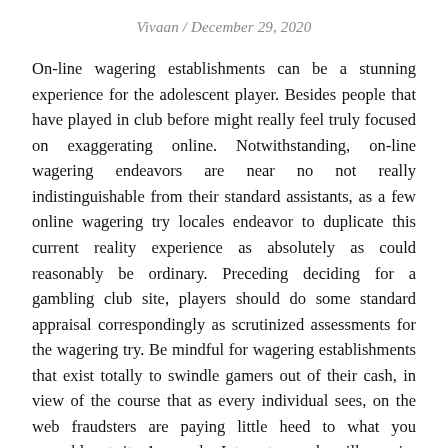Vivaan / December 29, 2020
On-line wagering establishments can be a stunning experience for the adolescent player. Besides people that have played in club before might really feel truly focused on exaggerating online. Notwithstanding, on-line wagering endeavors are near no not really indistinguishable from their standard assistants, as a few online wagering try locales endeavor to duplicate this current reality experience as absolutely as could reasonably be ordinary. Preceding deciding for a gambling club site, players should do some standard appraisal correspondingly as scrutinized assessments for the wagering try. Be mindful for wagering establishments that exist totally to swindle gamers out of their cash, in view of the course that as every individual sees, on the web fraudsters are paying little heed to what you resemble at it. A speedy Internet search will require gamers' stores of acknowledgments subject to PC game